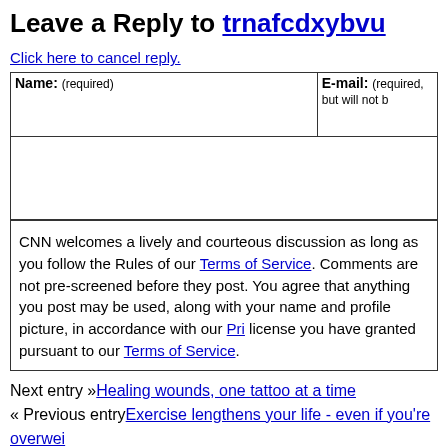Leave a Reply to trnafcdxybvu
Click here to cancel reply.
| Name: (required) | E-mail: (required, but will not be…) |
| --- | --- |
|  |  |
CNN welcomes a lively and courteous discussion as long as you follow the Rules of our Terms of Service. Comments are not pre-screened before they post. You agree that anything you post may be used, along with your name and profile picture, in accordance with our Privacy Policy and the license you have granted pursuant to our Terms of Service.
Next entry »Healing wounds, one tattoo at a time
« Previous entryExercise lengthens your life - even if you're overwei…